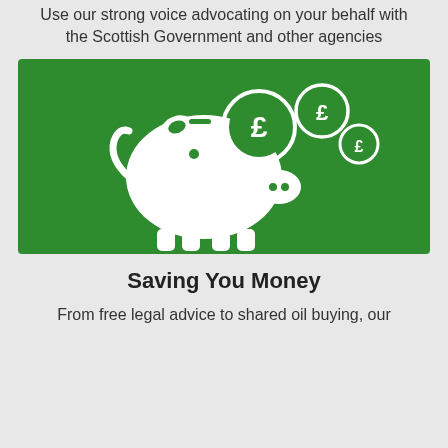Use our strong voice advocating on your behalf with the Scottish Government and other agencies
[Figure (illustration): White piggy bank icon with three pound (£) coins above it on a green background, representing saving money]
Saving You Money
From free legal advice to shared oil buying, our